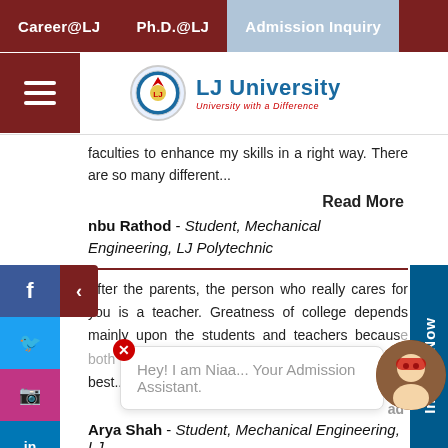Career@LJ   Ph.D.@LJ   Admission Inquiry
[Figure (logo): LJ University logo with shield emblem and tagline University with a Difference]
faculties to enhance my skills in a right way. There are so many different...
Read More
nbu Rathod - Student, Mechanical Engineering, LJ Polytechnic
After the parents, the person who really cares for you is a teacher. Greatness of college depends mainly upon the students and teachers because both gives important contribution for calling it as best...
Inquire Now
Hey! I am Niaa... Your Admission Assistant.
Arya Shah - Student, Mechanical Engineering, LJ